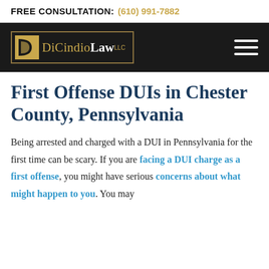FREE CONSULTATION: (610) 991-7882
[Figure (logo): DiCindio Law LLC logo with gold D icon and border on dark background, with hamburger menu icon]
First Offense DUIs in Chester County, Pennsylvania
Being arrested and charged with a DUI in Pennsylvania for the first time can be scary. If you are facing a DUI charge as a first offense, you might have serious concerns about what might happen to you. You may